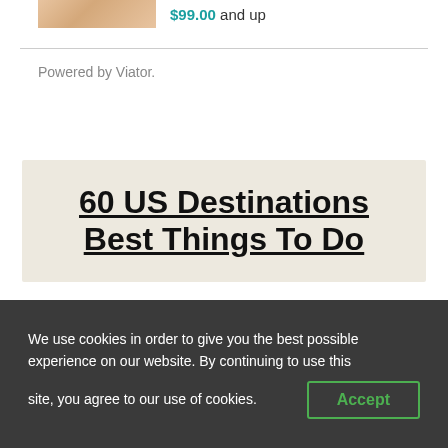[Figure (photo): Partial image of a person's hands or skin, cropped at top of page]
$99.00 and up
Powered by Viator.
60 US Destinations Best Things To Do
We use cookies in order to give you the best possible experience on our website. By continuing to use this site, you agree to our use of cookies.
Accept